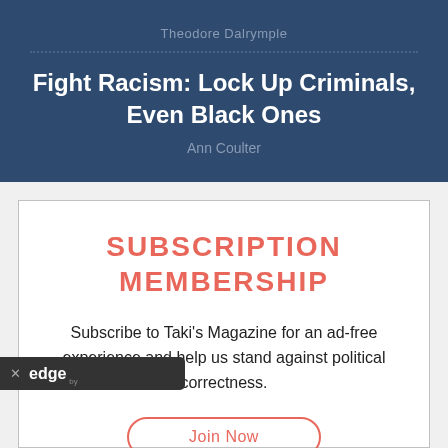Theodore Dalrymple
Fight Racism: Lock Up Criminals, Even Black Ones
Ann Coulter
SUBSCRIPTION MEMBERSHIP
Subscribe to Taki's Magazine for an ad-free experience and help us stand against political correctness.
Join Now